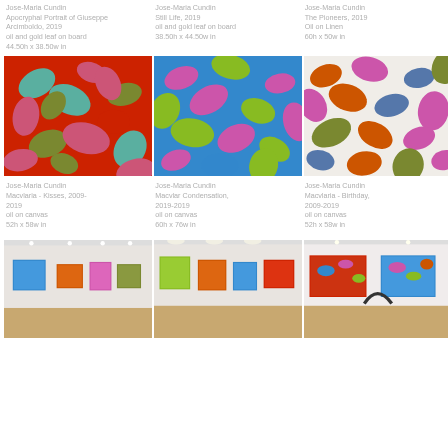Jose-Maria Cundin
Apocryphal Portrait of Giuseppe Arcimboldo, 2019
oil and gold leaf on board
44.50h x 38.50w in
Jose-Maria Cundin
Still Life, 2019
oil and gold leaf on board
38.50h x 44.50w in
Jose-Maria Cundin
The Pioneers, 2019
Oil on Linen
60h x 50w in
[Figure (photo): Colorful abstract painting with red background and teal/pink/olive leaf shapes]
[Figure (photo): Colorful abstract painting with blue background and multicolored leaf shapes]
[Figure (photo): Colorful abstract painting on white/cream background with orange, pink, teal, olive leaf shapes]
Jose-Maria Cundin
Macvlaria - Kisses, 2009-
2019
oil on canvas
52h x 58w in
Jose-Maria Cundin
Macvlar Condensation,
2019-2019
oil on canvas
60h x 76w in
Jose-Maria Cundin
Macvlaria - Birthday,
2009-2019
oil on canvas
52h x 58w in
[Figure (photo): Gallery installation view with paintings on white walls, wooden floor]
[Figure (photo): Gallery installation view showing paintings along white walls with warm lighting]
[Figure (photo): Gallery installation view showing two large colorful paintings and sculptural element]